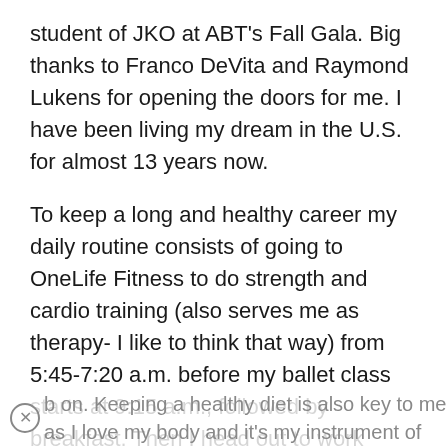student of JKO at ABT's Fall Gala. Big thanks to Franco DeVita and Raymond Lukens for opening the doors for me. I have been living my dream in the U.S. for almost 13 years now.
To keep a long and healthy career my daily routine consists of going to OneLife Fitness to do strength and cardio training (also serves me as therapy- I like to think that way) from 5:45-7:20 a.m. before my ballet class starts at 9:15 a.m., followed by breakfast. Then I head out to work around 8:20 a.m. It is important for me to train at the gym before class because it prepares my body for what is coming next and
b on. Keeping a healthy diet is also key to me as I love my body and it's my instrument of